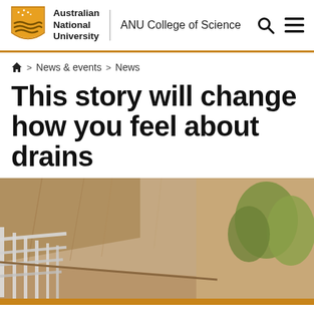Australian National University | ANU College of Science
Home > News & events > News
This story will change how you feel about drains
[Figure (photo): Looking-up view under a concrete bridge or overpass structure with railing on the left side and trees visible on the right, in warm tones.]